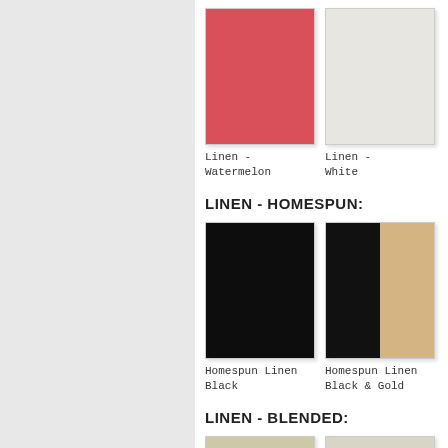[Figure (illustration): Left gray panel background]
Linen - Watermelon
Linen - White
LINEN - HOMESPUN:
[Figure (illustration): Homespun Linen Black color swatch - solid black square]
Homespun Linen Black
[Figure (illustration): Homespun Linen Black & Gold color swatch - half black half gold square]
Homespun Linen Black & Gold
LINEN - BLENDED:
[Figure (illustration): Blended linen color swatches - partial view at bottom]